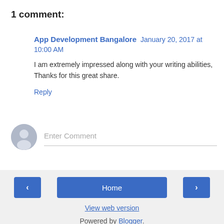1 comment:
App Development Bangalore January 20, 2017 at 10:00 AM
I am extremely impressed along with your writing abilities, Thanks for this great share.
Reply
[Figure (other): User avatar icon - grey silhouette circle]
Enter Comment
< Home > View web version Powered by Blogger.